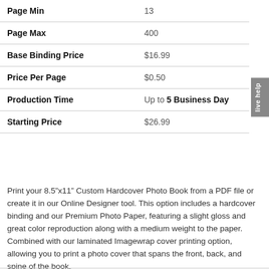|  |  |
| --- | --- |
| Page Min | 13 |
| Page Max | 400 |
| Base Binding Price | $16.99 |
| Price Per Page | $0.50 |
| Production Time | Up to 5 Business Days |
| Starting Price | $26.99 |
Print your 8.5"x11" Custom Hardcover Photo Book from a PDF file or create it in our Online Designer tool. This option includes a hardcover binding and our Premium Photo Paper, featuring a slight gloss and great color reproduction along with a medium weight to the paper. Combined with our laminated Imagewrap cover printing option, allowing you to print a photo cover that spans the front, back, and spine of the book.